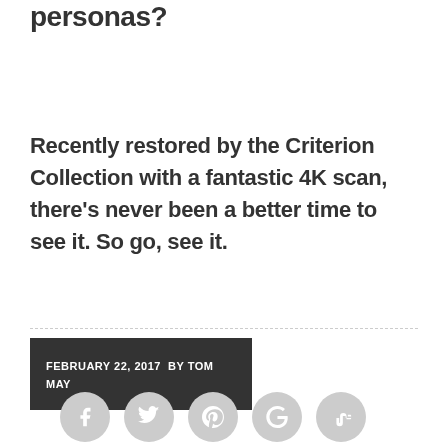personas?
Recently restored by the Criterion Collection with a fantastic 4K scan, there's never been a better time to see it. So go, see it.
FEBRUARY 22, 2017  BY TOM MAY
[Figure (infographic): Row of 5 circular social media share buttons: Facebook, Twitter, Pinterest, Google+, StumbleUpon]